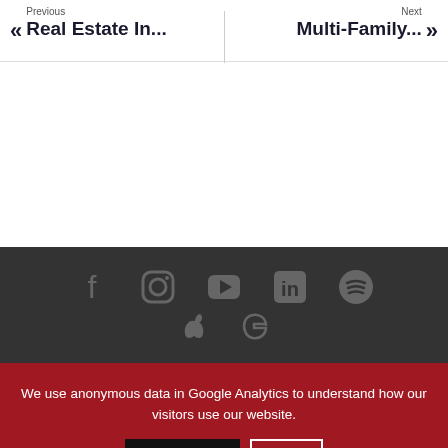« Previous Real Estate In... | Next Multi-Family... »
[Figure (other): Social media icons row in dark footer: Facebook, Instagram, YouTube, LinkedIn, Spotify, and partial Apple/Google icons]
We use anonymous data in Google Analytics to understand how our visitors use our website.
Accept | X